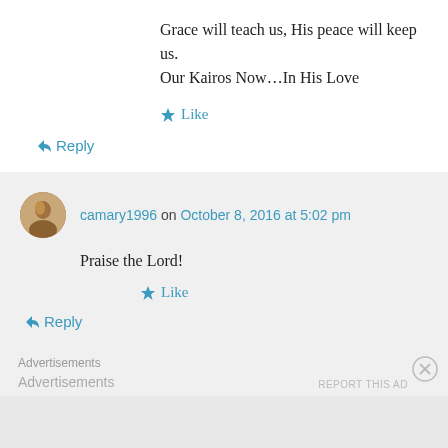Grace will teach us, His peace will keep us.
Our Kairos Now…In His Love
★ Like
↪ Reply
camary1996 on October 8, 2016 at 5:02 pm
Praise the Lord!
★ Like
↪ Reply
Advertisements
Advertisements